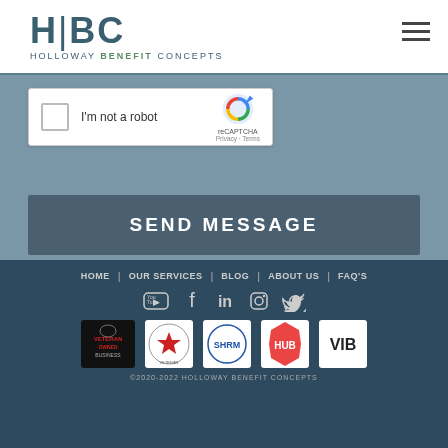[Figure (logo): HBC Holloway Benefit Concepts logo with H|BC text and hamburger menu icon]
[Figure (screenshot): reCAPTCHA widget with checkbox, 'I'm not a robot' text, and reCAPTCHA branding logo]
SEND MESSAGE
HOME | OUR SERVICES | BLOG | ABOUT US | FAQ'S
[Figure (infographic): Social media icons: YouTube, Facebook, LinkedIn, Instagram, Twitter]
[Figure (infographic): Partner/certification badges: Veteran Owned Business, Veteran badge, SHRM, HUB, VIB]
©2020-2022 HOLLOWAY BENEFIT CONCEPTS